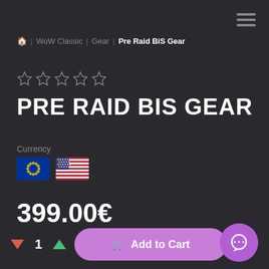hamburger menu icon
🏠 | WoW Classic | Gear | Pre Raid BiS Gear
[Figure (illustration): Five empty star rating icons in a row]
PRE RAID BIS GEAR
Currency
[Figure (illustration): EU flag and US flag icons for currency selection]
399.00€
▼ 1 ▲  Add to Cart  ♥